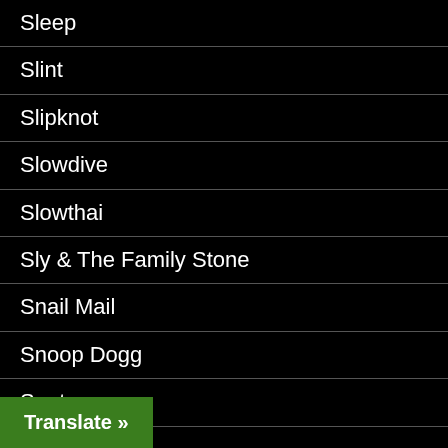Sleep
Slint
Slipknot
Slowdive
Slowthai
Sly & The Family Stone
Snail Mail
Snoop Dogg
Snot
Snow Patrol
Soldiers of Jah Army
Sonic Youth
Translate »